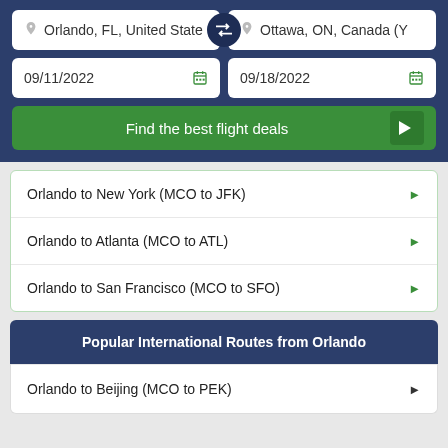Orlando, FL, United State
Ottawa, ON, Canada (Y
09/11/2022
09/18/2022
Find the best flight deals
Orlando to New York (MCO to JFK)
Orlando to Atlanta (MCO to ATL)
Orlando to San Francisco (MCO to SFO)
Popular International Routes from Orlando
Orlando to Beijing (MCO to PEK)